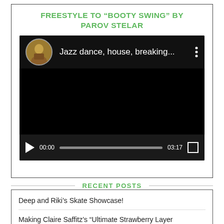FREESTYLE TO “BOOTY SWING” BY PAROV STELAR
[Figure (screenshot): Embedded video player showing a YouTube/video embed with title 'Jazz dance, house, breaking...' and an avatar thumbnail. Controls show 00:00 start time, progress bar, 03:17 end time, and fullscreen button.]
RECENT POSTS
Deep and Riki’s Skate Showcase!
Making Claire Saffitz’s “Ultimate Strawberry Layer Cake”